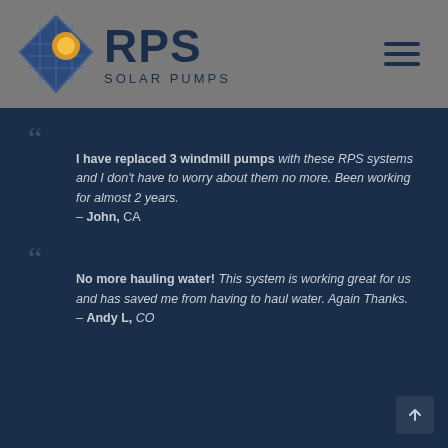[Figure (logo): RPS Solar Pumps logo with diamond shape containing solar panels and sun motif, with bold RPS text and SOLAR PUMPS below]
I have replaced 3 windmill pumps with these RPS systems and I don't have to worry about them no more. Been working for almost 2 years. – John, CA
No more hauling water! This system is working great for us and has saved me from having to haul water. Again Thanks. – Andy L, CO